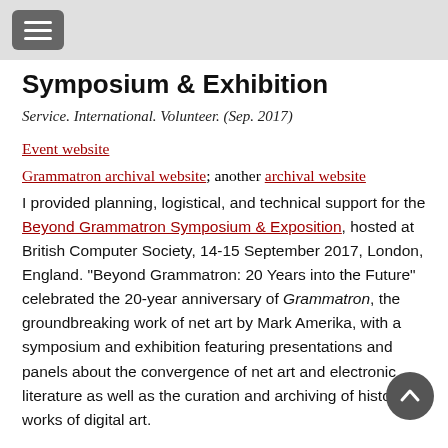≡
Symposium & Exhibition
Service. International. Volunteer. (Sep. 2017)
Event website
Grammatron archival website; another archival website
I provided planning, logistical, and technical support for the Beyond Grammatron Symposium & Exposition, hosted at British Computer Society, 14-15 September 2017, London, England. "Beyond Grammatron: 20 Years into the Future" celebrated the 20-year anniversary of Grammatron, the groundbreaking work of net art by Mark Amerika, with a symposium and exhibition featuring presentations and panels about the convergence of net art and electronic literature as well as the curation and archiving of historical works of digital art.